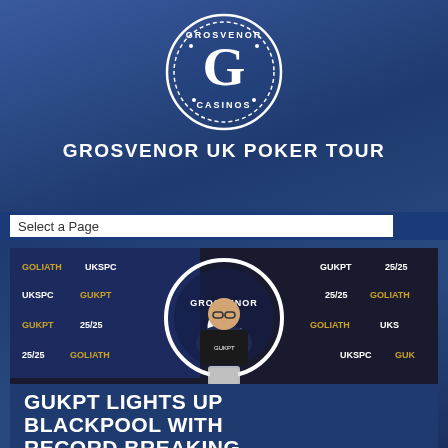[Figure (logo): Grosvenor Casinos circular logo in white on blue background, with G lettermark, dashed border ring, and text GROSVENOR CASINOS around the circle]
GROSVENOR UK POKER TOUR
Select a Page
[Figure (photo): Poker player standing behind a table at a Grosvenor branded event. Background shows branded backdrop with GOLIATH, UKSPC, GUKPT, 25/25 logos. Blue LED strip lighting on the table edge.]
GUKPT LIGHTS UP BLACKPOOL WITH RECORD BREAKING